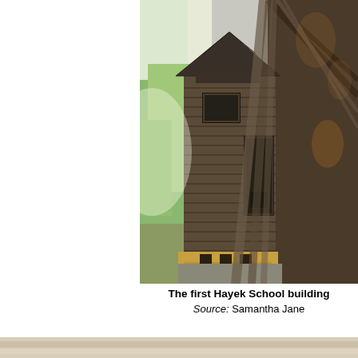[Figure (photo): Photo of the first Hayek School building — an old weathered wooden outhouse-style structure with a peaked roof, a small window, and a door, leaning against a larger dilapidated barn structure. Green grass and trees visible in background.]
The first Hayek School building. Source: Samantha Jane
[Figure (photo): Bottom strip of a second photo, partially visible — appears to show a light-colored sandy or dusty ground surface.]